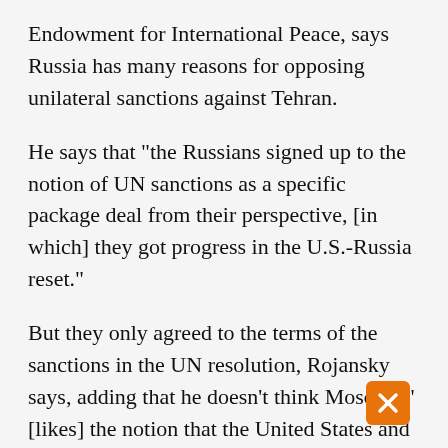Endowment for International Peace, says Russia has many reasons for opposing unilateral sanctions against Tehran.
He says that "the Russians signed up to the notion of UN sanctions as a specific package deal from their perspective, [in which] they got progress in the U.S.-Russia reset."
But they only agreed to the terms of the sanctions in the UN resolution, Rojansky says, adding that he doesn't think Moscow "[likes] the notion that the United States and Western Europe sort of jumped on that momentum and tried to push it further."
Although Russia does have business ties to Tehran, Rojansky says a more significant reason